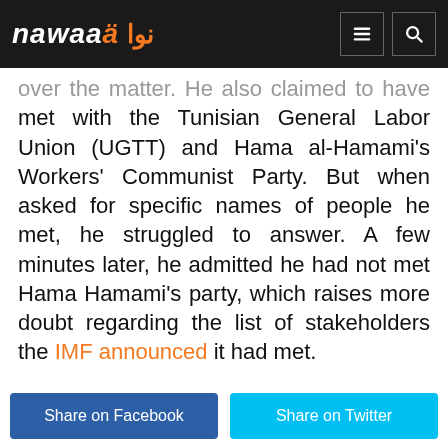nawaaä | نوا — navigation header with menu and search icons
over the matter. He also claimed to have met with the Tunisian General Labor Union (UGTT) and Hama al-Hamami's Workers' Communist Party. But when asked for specific names of people he met, he struggled to answer. A few minutes later, he admitted he had not met Hama Hamami's party, which raises more doubt regarding the list of stakeholders the IMF announced it had met.
Share on Facebook | Share on Twitter